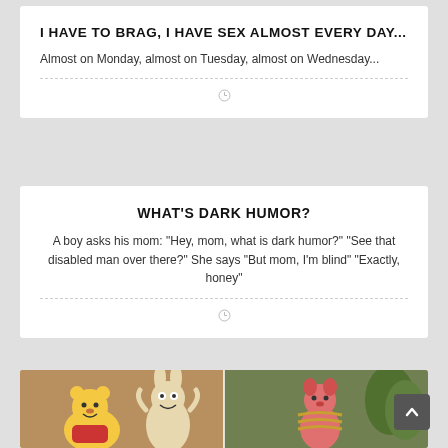I HAVE TO BRAG, I HAVE SEX ALMOST EVERY DAY...
Almost on Monday, almost on Tuesday, almost on Wednesday...
WHAT'S DARK HUMOR?
A boy asks his mom: "Hey, mom, what is dark humor?" "See that disabled man over there?" She says "But mom, I'm blind" "Exactly, honey"
[Figure (photo): Winnie the Pooh cartoon characters - Pooh, Rabbit, and Piglet in an outdoor scene]